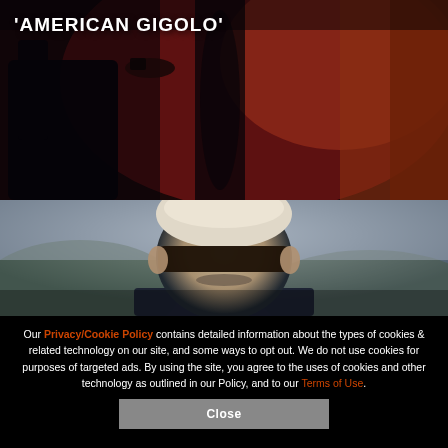[Figure (photo): Dark reddish scene showing a chair silhouette and draped curtains in a dimly lit room with deep red/maroon tones]
'AMERICAN GIGOLO'
[Figure (photo): An older man with white hair wearing dark sunglasses, photographed outdoors against a blurred greenish-grey background]
Our Privacy/Cookie Policy contains detailed information about the types of cookies & related technology on our site, and some ways to opt out. We do not use cookies for purposes of targeted ads. By using the site, you agree to the uses of cookies and other technology as outlined in our Policy, and to our Terms of Use.